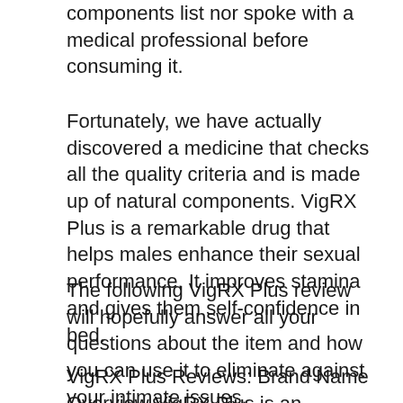components list nor spoke with a medical professional before consuming it.
Fortunately, we have actually discovered a medicine that checks all the quality criteria and is made up of natural components. VigRX Plus is a remarkable drug that helps males enhance their sexual performance. It improves stamina and gives them self-confidence in bed.
The following VigRX Plus review will hopefully answer all your questions about the item and how you can use it to eliminate against your intimate issues.
VigRX Plus Reviews: Brand Name Overview VigRX Plus is an extremely popular brand